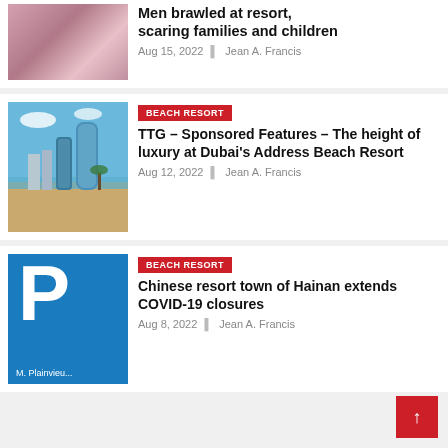[Figure (photo): Partial thumbnail photo, brawl/fight scene, cropped at top]
Men brawled at resort, scaring families and children
Aug 15, 2022  Jean A. Francis
[Figure (photo): Beach resort photo showing tall glass towers and beachfront, Dubai Address Beach Resort]
BEACH RESORT
TTG – Sponsored Features – The height of luxury at Dubai's Address Beach Resort
Aug 12, 2022  Jean A. Francis
[Figure (logo): Blue square logo with large white letter P and text 'M. Plainview' below]
BEACH RESORT
Chinese resort town of Hainan extends COVID-19 closures
Aug 8, 2022  Jean A. Francis